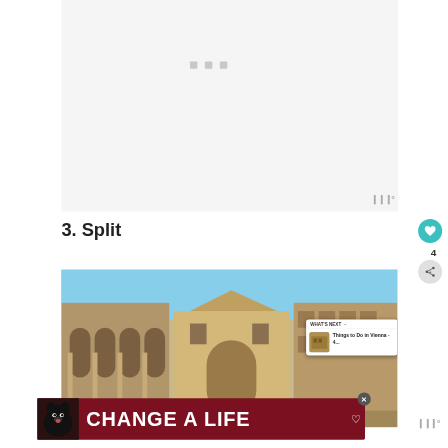[Figure (other): Loading placeholder area with three small grey squares, on white/light grey background]
3. Split
[Figure (photo): Photo of Diocletian's Palace in Split, Croatia — classical Roman arches, columns, and ornate stone facade under blue sky]
[Figure (screenshot): What's Next overlay box: header 'WHAT'S NEXT →', thumbnail of a building, text 'Things to Do in Vienna - 4...']
[Figure (other): Advertisement banner: dark red background with dog image on left, text 'CHANGE A LIFE' in white bold font, heart icon]